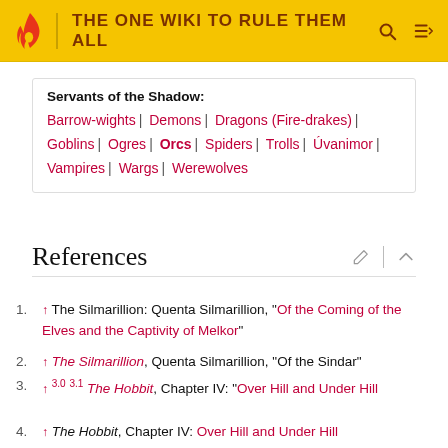THE ONE WIKI TO RULE THEM ALL
Servants of the Shadow: Barrow-wights | Demons | Dragons (Fire-drakes) | Goblins | Ogres | Orcs | Spiders | Trolls | Úvanimor | Vampires | Wargs | Werewolves
References
1. ↑ The Silmarillion: Quenta Silmarillion, "Of the Coming of the Elves and the Captivity of Melkor"
2. ↑ The Silmarillion, Quenta Silmarillion, "Of the Sindar"
3. ↑ 3.0 3.1 The Hobbit, Chapter IV: "Over Hill and Under Hill
4. ↑ The Hobbit, Chapter IV: Over Hill and Under Hill